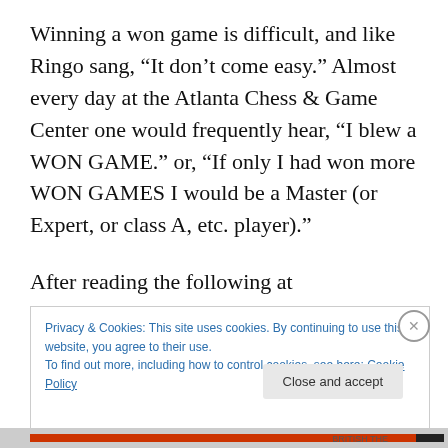Winning a won game is difficult, and like Ringo sang, “It don’t come easy.” Almost every day at the Atlanta Chess & Game Center one would frequently hear, “I blew a WON GAME.” or, “If only I had won more WON GAMES I would be a Master (or Expert, or class A, etc. player).”
After reading the following at ChessLifeOnline
Privacy & Cookies: This site uses cookies. By continuing to use this website, you agree to their use.
To find out more, including how to control cookies, see here: Cookie Policy